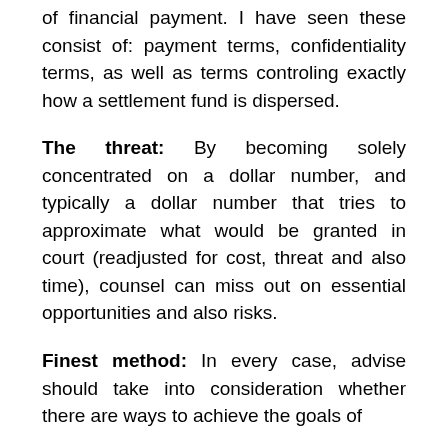of financial payment. I have seen these consist of: payment terms, confidentiality terms, as well as terms controling exactly how a settlement fund is dispersed.
The threat: By becoming solely concentrated on a dollar number, and typically a dollar number that tries to approximate what would be granted in court (readjusted for cost, threat and also time), counsel can miss out on essential opportunities and also risks.
Finest method: In every case, advise should take into consideration whether there are ways to achieve the goals of the client more than simply